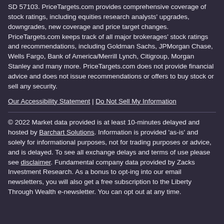SD 57103. PriceTargets.com provides comprehensive coverage of stock ratings, including equities research analysts' upgrades, downgrades, new coverage and price target changes. PriceTargets.com keeps track of all major brokerages' stock ratings and recommendations, including Goldman Sachs, JPMorgan Chase, Wells Fargo, Bank of America/Merrill Lynch, Citigroup, Morgan Stanley and many more. PriceTargets.com does not provide financial advice and does not issue recommendations or offers to buy stock or sell any security.
Our Accessibility Statement | Do Not Sell My Information
© 2022 Market data provided is at least 10-minutes delayed and hosted by Barchart Solutions. Information is provided 'as-is' and solely for informational purposes, not for trading purposes or advice, and is delayed. To see all exchange delays and terms of use please see disclaimer. Fundamental company data provided by Zacks Investment Research. As a bonus to opt-ing into our email newsletters, you will also get a free subscription to the Liberty Through Wealth e-newsletter. You can opt out at any time.